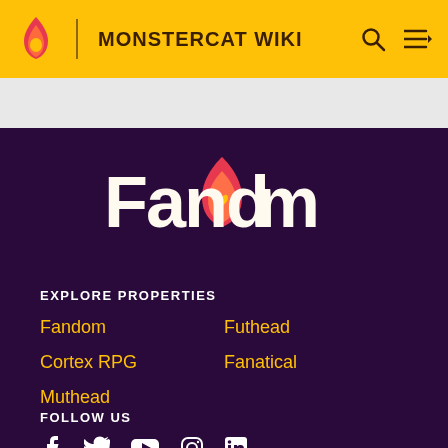MONSTERCAT WIKI
[Figure (logo): Fandom logo with flame icon and heart, white text on dark purple background]
EXPLORE PROPERTIES
Fandom
Futhead
Cortex RPG
Fanatical
Muthead
FOLLOW US
[Figure (other): Social media icons: Facebook, Twitter, YouTube, Instagram, LinkedIn]